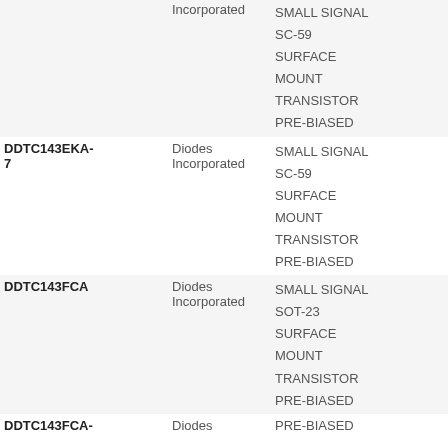| Part | Manufacturer | Description |
| --- | --- | --- |
|  | Incorporated | SMALL SIGNAL SC-59 SURFACE MOUNT TRANSISTOR PRE-BIASED |
| DDTC143EKA-7 | Diodes Incorporated | SMALL SIGNAL SC-59 SURFACE MOUNT TRANSISTOR PRE-BIASED |
| DDTC143FCA | Diodes Incorporated | SMALL SIGNAL SC-59 SURFACE MOUNT TRANSISTOR PRE-BIASED |
| DDTC143FCA- | Diodes Incorporated | SMALL SIGNAL SOT-23 SURFACE MOUNT TRANSISTOR PRE-BIASED |